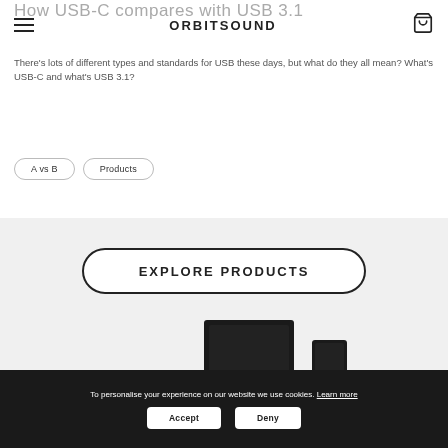ORBITSOUND
How USB-C compares with USB 3.1
There's lots of different types and standards for USB these days, but what do they all mean? What's USB-C and what's USB 3.1?
A vs B
Products
[Figure (illustration): EXPLORE PRODUCTS button with rounded border, followed by product lineup of dark/black audio speakers and soundbars on a light grey background]
To personalise your experience on our website we use cookies. Learn more
Accept
Deny